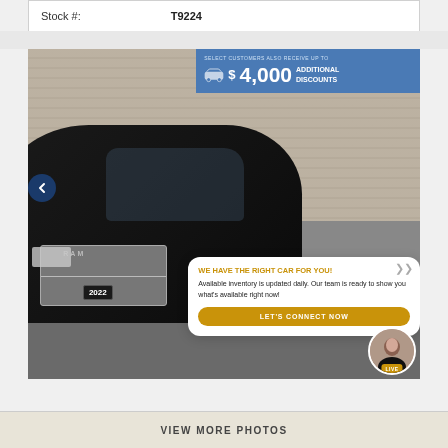| Stock #: | T9224 |
| --- | --- |
[Figure (photo): 2022 RAM truck photographed in front of a stone wall background, with a blue discount banner overlay showing $4,000 additional discounts for select customers, a navigation arrow on the left, and a chat popup on the right offering to connect customers with available inventory]
WE HAVE THE RIGHT CAR FOR YOU! Available inventory is updated daily. Our team is ready to show you what's available right now!
LET'S CONNECT NOW
VIEW MORE PHOTOS